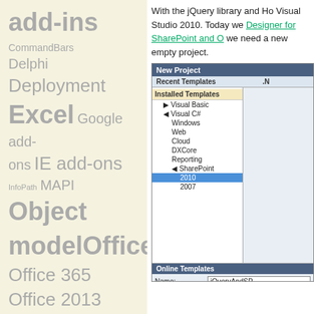add-ins
CommandBars
Delphi
Deployment
Excel
Google add-ons
IE add-ons
InfoPath
MAPI
Object model
Office
Office 365
Office 2013
Office 2019
Outlook
Outlook regions
Outlook security PIAs
With the jQuery library and Ho Visual Studio 2010. Today we Designer for SharePoint and O we need a new empty project.
[Figure (screenshot): Visual Studio 2010 New Project dialog showing Installed Templates tree with Visual Basic, Visual C# (expanded to Windows, Web, Cloud, DXCore, Reporting, SharePoint with 2010 selected and 2007), and Online Templates. Name field: jQueryAndSP, Location: C:\Development\AD, Solution name: jQueryAndSP]